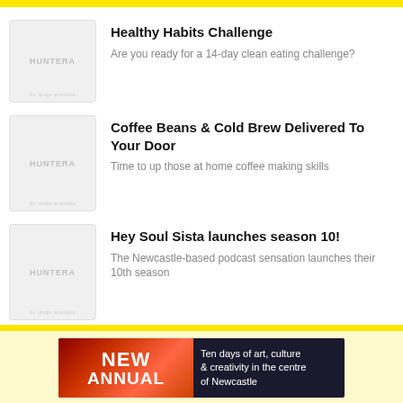Healthy Habits Challenge — Are you ready for a 14-day clean eating challenge?
Coffee Beans & Cold Brew Delivered To Your Door — Time to up those at home coffee making skills
Hey Soul Sista launches season 10! — The Newcastle-based podcast sensation launches their 10th season
[Figure (illustration): Advertisement banner for 'NEW ANNUAL' event: Ten days of art, culture & creativity in the centre of Newcastle]